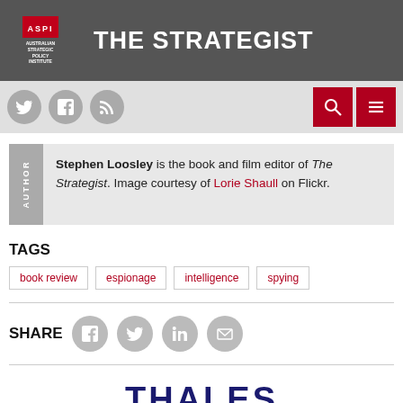THE STRATEGIST — ASPI Australian Strategic Policy Institute
[Figure (screenshot): Navigation bar with social icons (Twitter, Facebook, RSS) and search/menu buttons]
Stephen Loosley is the book and film editor of The Strategist. Image courtesy of Lorie Shaull on Flickr.
TAGS
book review
espionage
intelligence
spying
SHARE
[Figure (logo): Thales company logo text at bottom of page]